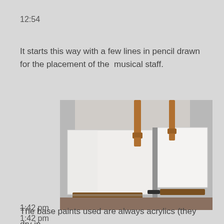12:54
It starts this way with a few lines in pencil drawn for the placement of the  musical staff.
[Figure (photo): Two blank white canvases on wooden easels in a studio or workshop setting, viewed from the front. The canvases are side by side and appear to be primed and ready for painting.]
1:42 pm
The base paints used are always acrylics (they dry in